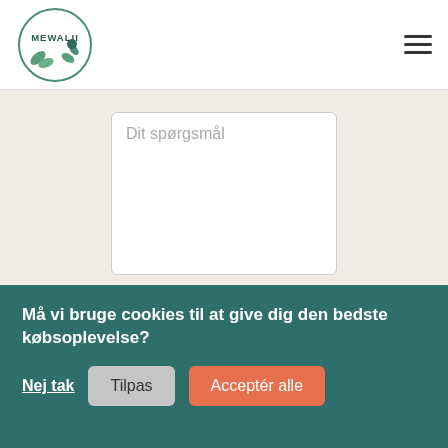MEWALII
[Figure (screenshot): Mewalii logo — circular green botanical emblem with text MEWALII]
Dit spørgsmål
SEND SPØRGSMÅL
Må vi bruge cookies til at give dig den bedste købsoplevelse?
Nej tak
Tilpas
Acceptér alle